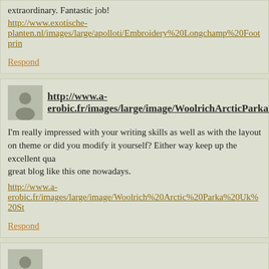extraordinary. Fantastic job!
http://www.exotische-planten.nl/images/large/apolloti/Embroidery%20Longchamp%20Footprin
Respond
http://www.a-erobic.fr/images/large/image/WoolrichArcticParkaUkStockistsMenA
I'm really impressed with your writing skills as well as with the layout on theme or did you modify it yourself? Either way keep up the excellent qua great blog like this one nowadays.
http://www.a-erobic.fr/images/large/image/Woolrich%20Arctic%20Parka%20Uk%20St
Respond